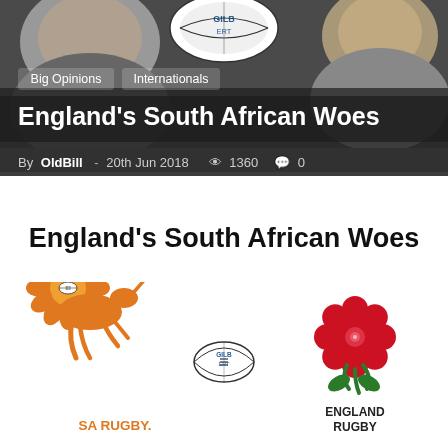[Figure (photo): Header banner with two people's faces partially visible on left and right sides against a dark grey background, with a rugby ball (Gilberd) visible at top center]
Big Opinions
Internationals
England's South African Woes
By OldBill - 20th Jun 2018  1360  0
England's South African Woes
[Figure (logo): SA Rugby springbok logo (orange springbok antelope leaping over orange protea badge), a Gilbert rugby ball, and England Rugby red rose logo side by side]